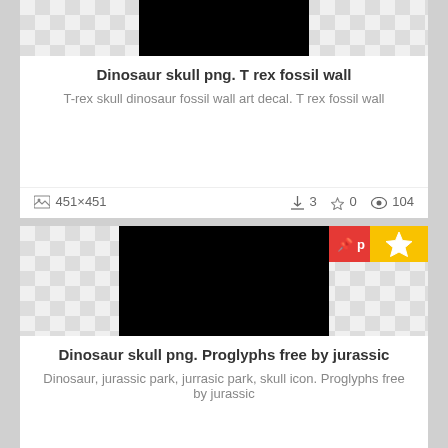[Figure (photo): Black rectangle on checkered transparent background, top card image thumbnail]
Dinosaur skull png. T rex fossil wall
T-rex skull dinosaur fossil wall art decal. T rex fossil wall
451×451   ⬇ 3  ☆ 0  👁 104
[Figure (photo): Black rectangle on checkered transparent background, second card image thumbnail with pin and star badges]
Dinosaur skull png. Proglyphs free by jurassic
Dinosaur, jurassic park, jurrasic park, skull icon. Proglyphs free by jurassic